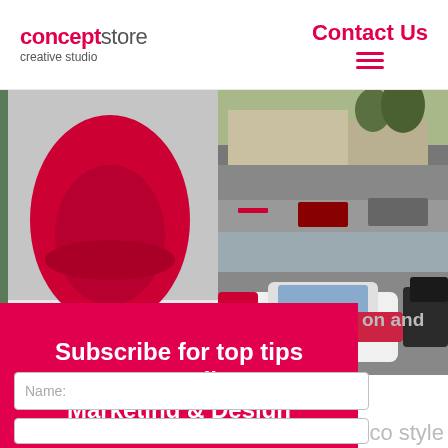conceptstore creative studio | Contact Us
[Figure (photo): Website screenshot showing concept store creative studio header with logo and Contact Us navigation, photo grid with red egg chair on left, street scene top right, classic cars bottom right, and a red subscription modal overlay with 'Subscribe for top tips on Branding, Marketing & Design' and a Name input field]
Subscribe for top tips on Branding, Marketing & Design
Name:
eco style